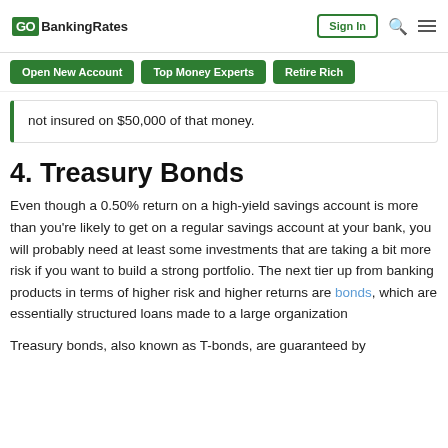GOBankingRates | Sign In | Search | Menu
Open New Account | Top Money Experts | Retire Rich
not insured on $50,000 of that money.
4. Treasury Bonds
Even though a 0.50% return on a high-yield savings account is more than you’re likely to get on a regular savings account at your bank, you will probably need at least some investments that are taking a bit more risk if you want to build a strong portfolio. The next tier up from banking products in terms of higher risk and higher returns are bonds, which are essentially structured loans made to a large organization
Treasury bonds, also known as T-bonds, are guaranteed by